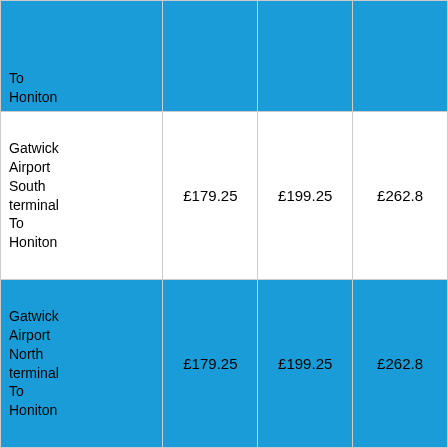| Route | Price 1 | Price 2 | Price 3 |
| --- | --- | --- | --- |
| To Honiton |  |  |  |
| Gatwick Airport South terminal To Honiton | £179.25 | £199.25 | £262.8 |
| Gatwick Airport North terminal To Honiton | £179.25 | £199.25 | £262.8 |